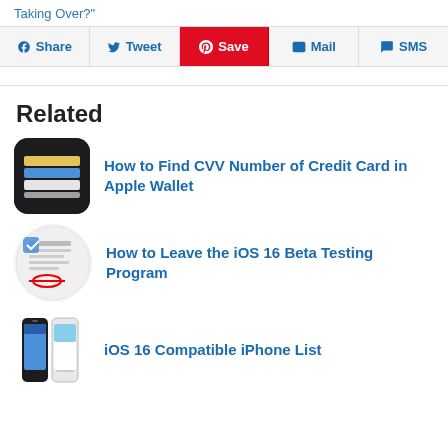Taking Over?"
Related
How to Find CVV Number of Credit Card in Apple Wallet
How to Leave the iOS 16 Beta Testing Program
iOS 16 Compatible iPhone List